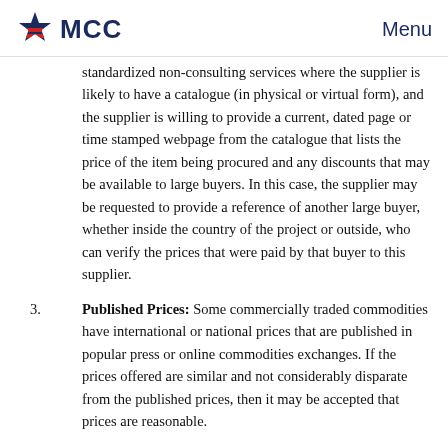MCC   Menu
standardized non-consulting services where the supplier is likely to have a catalogue (in physical or virtual form), and the supplier is willing to provide a current, dated page or time stamped webpage from the catalogue that lists the price of the item being procured and any discounts that may be available to large buyers. In this case, the supplier may be requested to provide a reference of another large buyer, whether inside the country of the project or outside, who can verify the prices that were paid by that buyer to this supplier.
3. Published Prices: Some commercially traded commodities have international or national prices that are published in popular press or online commodities exchanges. If the prices offered are similar and not considerably disparate from the published prices, then it may be accepted that prices are reasonable.